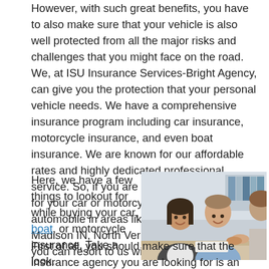However, with such great benefits, you have to also make sure that your vehicle is also well protected from all the major risks and challenges that you might face on the road. We, at ISU Insurance Services-Bright Agency, can give you the protection that your personal vehicle needs. We have a comprehensive insurance program including car insurance, motorcycle insurance, and even boat insurance. We are known for our affordable rates and highly dedicated professional service. So, if you are looking for a coverage for your car or motorcycle or any other automobile in areas like Columbus IN, Madison IN, North Vernon, or Seymour IN, you can resort to us without hesitation.
Here, we have a few things to lookout for while buying your car, boat, or motorcycle insurance. Take a look.
[Figure (photo): Two people (a woman and a man) smiling and shaking hands with a third person across a desk in an office setting, suggesting an insurance or business consultation.]
Independent Insurance Agency
First of all, you should make sure that the insurance agency you are looking for is an independent insurance agency. It will